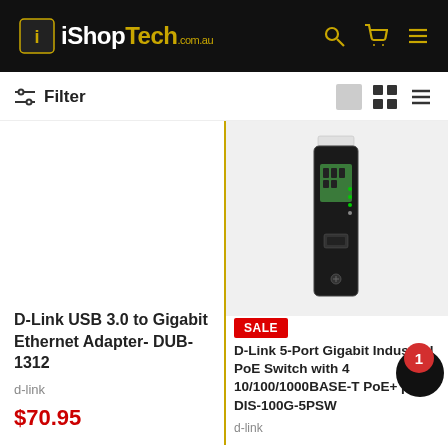iShopTech.com.au
Filter
[Figure (photo): D-Link USB 3.0 to Gigabit Ethernet Adapter product image (left column, top, partially visible/blank)]
D-Link USB 3.0 to Gigabit Ethernet Adapter- DUB-1312
d-link
$70.95
[Figure (photo): D-Link 5-Port Gigabit PoE Switch DIS-100G product image — black vertical rectangular device with ports and indicators]
SALE
D-Link 5-Port Gigabit Industrial PoE Switch with 4 10/100/1000BASE-T PoE+ por- DIS-100G-5PSW
d-link